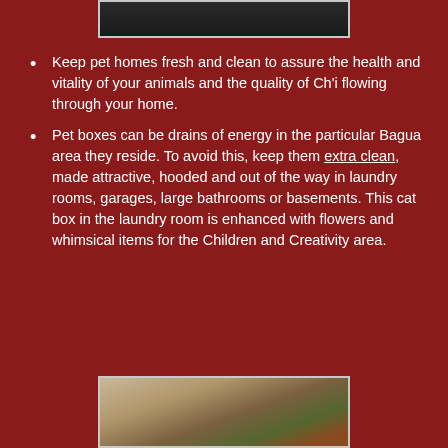[Figure (photo): Partial photo at top of page, dark toned image, likely showing a pet or animal, cropped at top edge]
Keep pet homes fresh and clean to assure the health and vitality of your animals and the quality of Ch’i flowing through your home.
Pet boxes can be drains of energy in the particular Bagua area they reside. To avoid this, keep them extra clean, made attractive, hooded and out of the way in laundry rooms, garages, large bathrooms or basements. This cat box in the laundry room is enhanced with flowers and whimsical items for the Children and Creativity area.
[Figure (photo): Partial photo at bottom of page showing a laundry room cat box area enhanced with flowers and whimsical items]